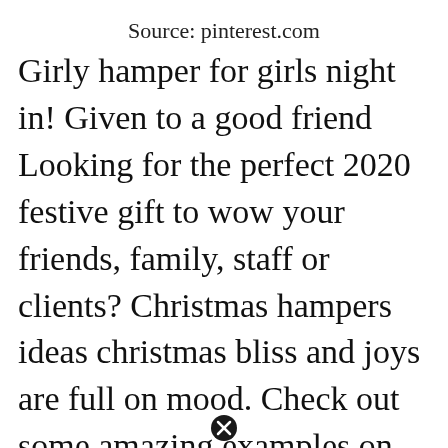Source: pinterest.com
Girly hamper for girls night in! Given to a good friend Looking for the perfect 2020 festive gift to wow your friends, family, staff or clients? Christmas hampers ideas christmas bliss and joys are full on mood. Check out some amazing examples on this board. So there’s no need to worry about paying an arm and a leg for shipping. Irish gift ideas for birthdays, christmas, anniversaries, mothers day, fathers day &